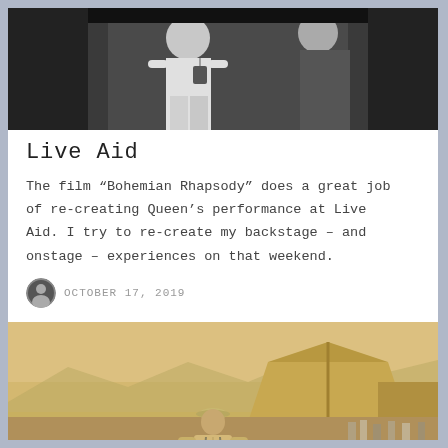[Figure (photo): Black and white photo showing two people backstage, one wearing a white outfit with a lanyard/badge, another person partially visible on the right]
Live Aid
The film “Bohemian Rhapsody” does a great job of re-creating Queen’s performance at Live Aid. I try to re-create my backstage – and onstage – experiences on that weekend.
OCTOBER 17, 2019
[Figure (photo): Sepia-toned outdoor photo of a man wearing a hat and light jacket standing in front of a large tent, with a crowd of people seated on the ground behind him and mountains in the background]